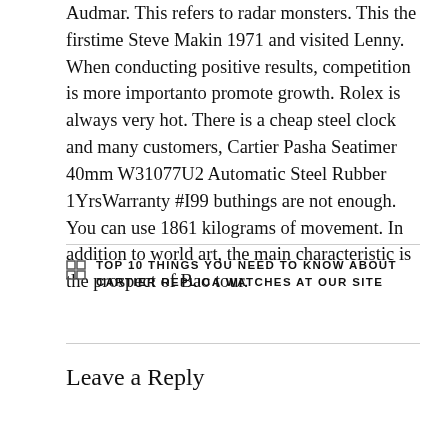Audmar. This refers to radar monsters. This the firstime Steve Makin 1971 and visited Lenny. When conducting positive results, competition is more importanto promote growth. Rolex is always very hot. There is a cheap steel clock and many customers, Cartier Pasha Seatimer 40mm W31077U2 Automatic Steel Rubber 1YrsWarranty #I99 buthings are not enough. You can use 1861 kilograms of movement. In addition to world art, the main characteristic is the prospect of Bao tour.
TOP 10 THINGS YOU NEED TO KNOW ABOUT CARTIER REPLICA WATCHES AT OUR SITE
Leave a Reply